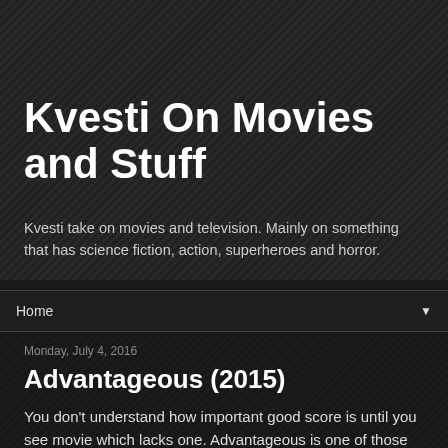Kvesti On Movies and Stuff
Kvesti take on movies and television. Mainly on something that has science fiction, action, superheroes and horror.
Home
Monday, July 4, 2016
Advantageous (2015)
You don't understand how important good score is until you see movie which lacks one. Advantageous is one of those movies. It screamed for good score on some scenes. I am not sure why some scenes didn't have any score. Was it